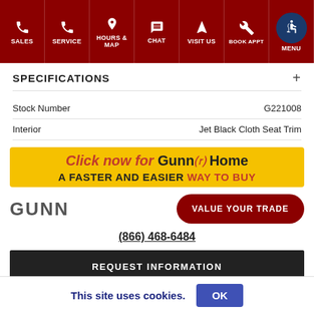[Figure (screenshot): Navigation bar with dark red background showing icons and labels: SALES, SERVICE, HOURS & MAP, CHAT, VISIT US, BOOK APPT, accessibility icon with MENU]
SPECIFICATIONS
| Stock Number | G221008 |
| Interior | Jet Black Cloth Seat Trim |
[Figure (infographic): Yellow banner ad: 'Click now for Gunn@Home - A FASTER AND EASIER WAY TO BUY']
[Figure (infographic): GUNN logo text partially obscured by dark red 'VALUE YOUR TRADE' button]
(866) 468-6484
REQUEST INFORMATION
This site uses cookies. OK